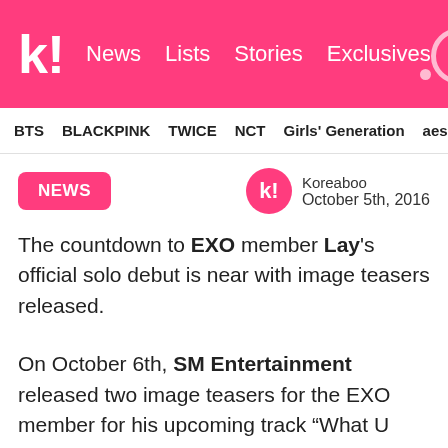k! News Lists Stories Exclusives
BTS BLACKPINK TWICE NCT Girls' Generation aespa
NEWS
Koreaboo
October 5th, 2016
The countdown to EXO member Lay's official solo debut is near with image teasers released.
On October 6th, SM Entertainment released two image teasers for the EXO member for his upcoming track “What U Need?”, one in black and white and another in color. In each, Lay exhibits a cool and charming demeanor, setting the stage for his upcoming release.
Lay will be taking the stage with his solo track